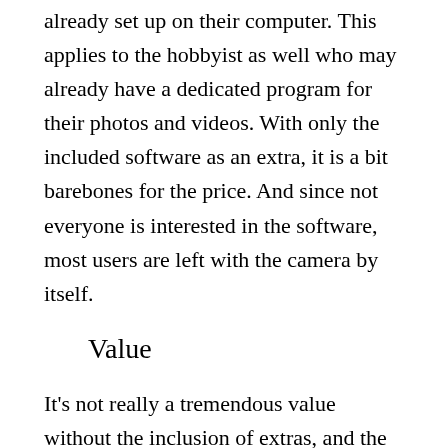already set up on their computer. This applies to the hobbyist as well who may already have a dedicated program for their photos and videos. With only the included software as an extra, it is a bit barebones for the price. And since not everyone is interested in the software, most users are left with the camera by itself.
Value
It's not really a tremendous value without the inclusion of extras, and the case pretty much limits its use to trail hunting only. This is not a bad camera by any means, and